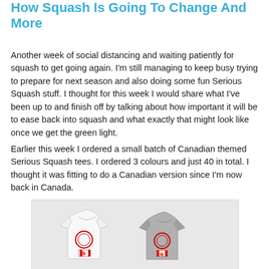How Squash Is Going To Change And More
Another week of social distancing and waiting patiently for squash to get going again. I'm still managing to keep busy trying to prepare for next season and also doing some fun Serious Squash stuff. I thought for this week I would share what I've been up to and finish off by talking about how important it will be to ease back into squash and what exactly that might look like once we get the green light.
Earlier this week I ordered a small batch of Canadian themed Serious Squash tees. I ordered 3 colours and just 40 in total. I thought it was fitting to do a Canadian version since I'm now back in Canada.
[Figure (photo): Two Serious Squash branded t-shirts (one white, one grey) with red logo and Canadian flag patch on the sleeve, displayed side by side on a light grey background.]